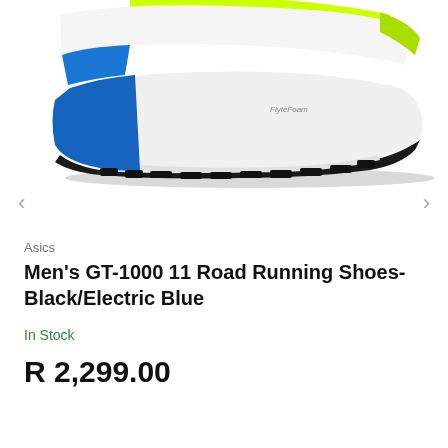[Figure (photo): Bottom/sole view of an Asics GT-1000 11 running shoe in white, black, yellow-green and electric blue colorway, showing the midsole with FlyteFoam branding]
Asics
Men's GT-1000 11 Road Running Shoes- Black/Electric Blue
In Stock
R 2,299.00